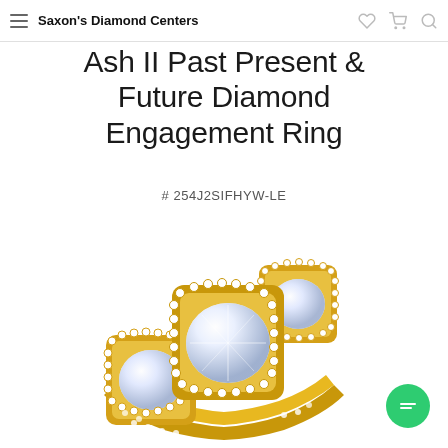Saxon's Diamond Centers
Ash II Past Present & Future Diamond Engagement Ring
# 254J2SIFHYW-LE
[Figure (photo): A yellow gold three-stone halo diamond engagement ring with a large round center diamond surrounded by a square halo of small diamonds, two smaller round side stones each with their own square halos, and a pavé-set band. The ring is displayed on a white background.]